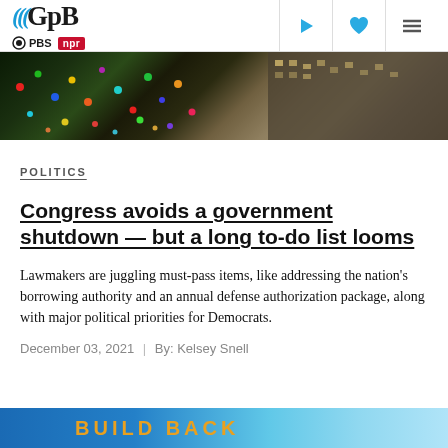GPB | PBS | NPR
[Figure (photo): Holiday lights with colorful Christmas lights in the foreground and a building visible in the background]
POLITICS
Congress avoids a government shutdown — but a long to-do list looms
Lawmakers are juggling must-pass items, like addressing the nation's borrowing authority and an annual defense authorization package, along with major political priorities for Democrats.
December 03, 2021  |  By: Kelsey Snell
[Figure (photo): Bottom strip showing BUILD BACK text with blue background]